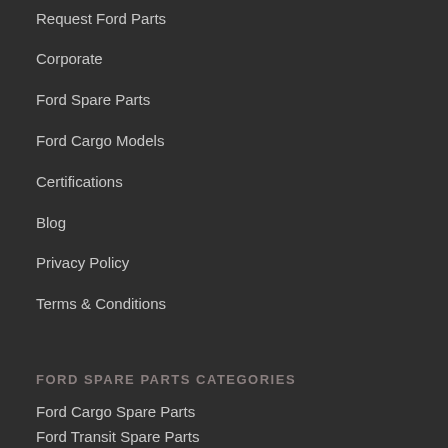Request Ford Parts
Corporate
Ford Spare Parts
Ford Cargo Models
Certifications
Blog
Privacy Policy
Terms & Conditions
FORD SPARE PARTS CATEGORIES
Ford Cargo Spare Parts
Ford Transit Spare Parts
Ford Fli...